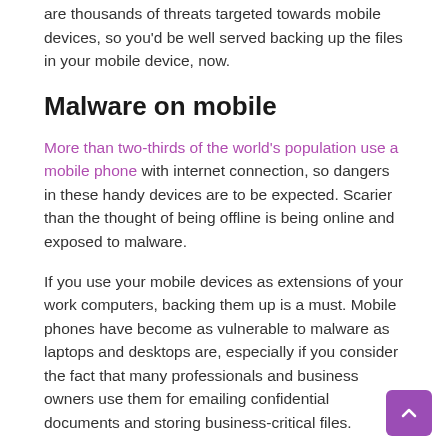are thousands of threats targeted towards mobile devices, so you'd be well served backing up the files in your mobile device, now.
Malware on mobile
More than two-thirds of the world's population use a mobile phone with internet connection, so dangers in these handy devices are to be expected. Scarier than the thought of being offline is being online and exposed to malware.
If you use your mobile devices as extensions of your work computers, backing them up is a must. Mobile phones have become as vulnerable to malware as laptops and desktops are, especially if you consider the fact that many professionals and business owners use them for emailing confidential documents and storing business-critical files.
Device disasters
Malware isn't the only disaster that can hurt your